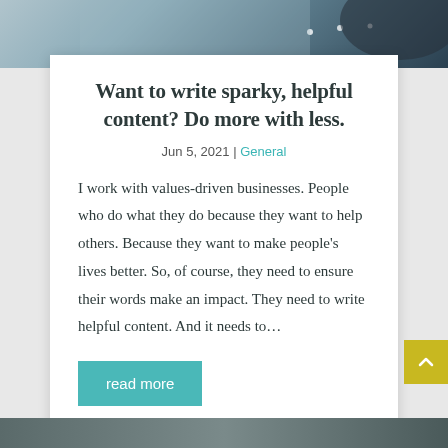[Figure (photo): Top portion of a photo, appears to show a person's hands or a scene with dark and light tones, partially cropped at top of page]
Want to write sparky, helpful content? Do more with less.
Jun 5, 2021 | General
I work with values-driven businesses. People who do what they do because they want to help others. Because they want to make people’s lives better. So, of course, they need to ensure their words make an impact. They need to write helpful content. And it needs to…
read more
[Figure (photo): Bottom strip of another photo partially visible at the bottom of the page]